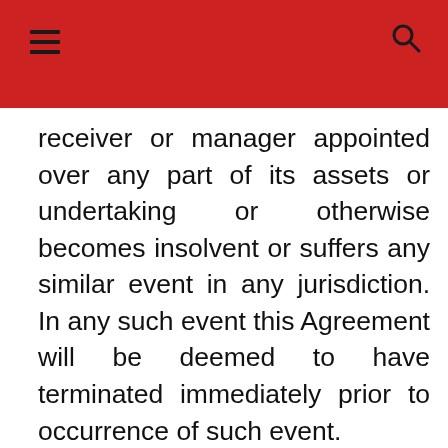Navigation header with hamburger menu and search icon
receiver or manager appointed over any part of its assets or undertaking or otherwise becomes insolvent or suffers any similar event in any jurisdiction. In any such event this Agreement will be deemed to have terminated immediately prior to occurrence of such event.
We use cookies on our website to give you the most relevant experience by remembering your preferences and repeat visits. By clicking “Accept All”, you consent to the use of ALL the cookies. However, you may visit "Cookie Settings" to provide a controlled consent.